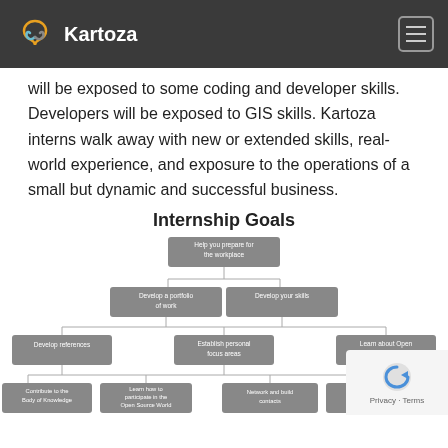Kartoza
will be exposed to some coding and developer skills. Developers will be exposed to GIS skills. Kartoza interns walk away with new or extended skills, real-world experience, and exposure to the operations of a small but dynamic and successful business.
Internship Goals
[Figure (organizational-chart): Hierarchical organizational chart showing Internship Goals. Top level: Help you prepare for the workplace. Second level: Develop a portfolio of work, Develop your skills. Third level: Develop references, Establish personal focus areas, Learn about Open Source GIS. Fourth level: Contribute to the Body of Knowledge, Learn how to participate in the Open Source World, Network and build contacts, Establish a profile in the OS GIS community - social credit.]